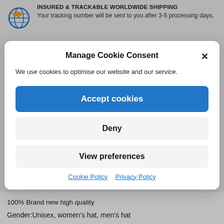[Figure (infographic): Airplane with globe icon representing insured and trackable worldwide shipping]
INSURED & TRACKABLE WORLDWIDE SHIPPING
Your tracking number will be sent to you after 3-5 processing days.
Manage Cookie Consent
We use cookies to optimise our website and our service.
Accept cookies
Deny
View preferences
Cookie Policy   Privacy Policy
100% Brand new high quality
Gender:Unisex, women's hat, men's hat